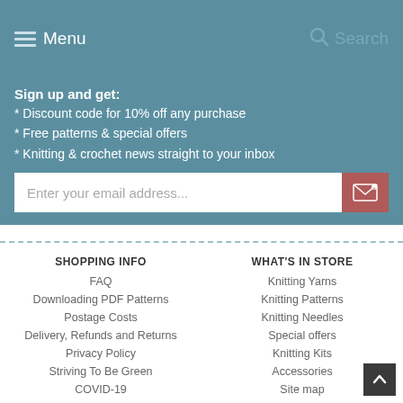Menu | Search
Sign up and get:
* Discount code for 10% off any purchase
* Free patterns & special offers
* Knitting & crochet news straight to your inbox
Enter your email address...
SHOPPING INFO
WHAT'S IN STORE
FAQ
Knitting Yarns
Downloading PDF Patterns
Knitting Patterns
Postage Costs
Knitting Needles
Delivery, Refunds and Returns
Special offers
Privacy Policy
Knitting Kits
Striving To Be Green
Accessories
COVID-19
Site map
Terms & Conditions